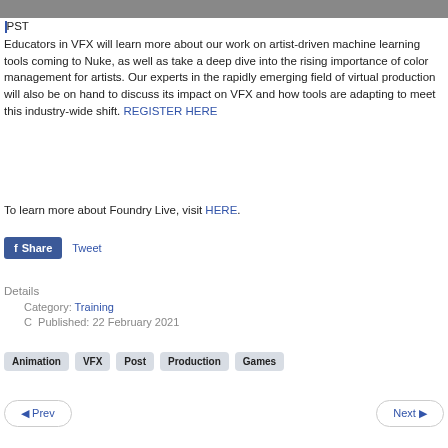PST
Educators in VFX will learn more about our work on artist-driven machine learning tools coming to Nuke, as well as take a deep dive into the rising importance of color management for artists. Our experts in the rapidly emerging field of virtual production will also be on hand to discuss its impact on VFX and how tools are adapting to meet this industry-wide shift. REGISTER HERE
To learn more about Foundry Live, visit HERE.
f Share   Tweet
Details
Category: Training
C  Published: 22 February 2021
Animation
VFX
Post
Production
Games
◄ Prev
Next ►